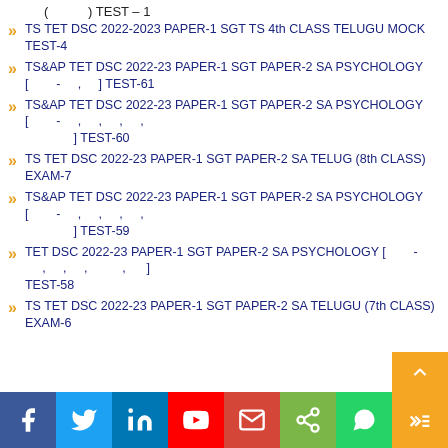( ) TEST – 1
TS TET DSC 2022-2023 PAPER-1 SGT TS 4th CLASS TELUGU MOCK TEST-4
TS&AP TET DSC 2022-23 PAPER-1 SGT PAPER-2 SA PSYCHOLOGY [ - , ] TEST-61
TS&AP TET DSC 2022-23 PAPER-1 SGT PAPER-2 SA PSYCHOLOGY [ - , , , , ] TEST-60
TS TET DSC 2022-23 PAPER-1 SGT PAPER-2 SA TELUG (8th CLASS) EXAM-7
TS&AP TET DSC 2022-23 PAPER-1 SGT PAPER-2 SA PSYCHOLOGY [ - , , , , ] TEST-59
TET DSC 2022-23 PAPER-1 SGT PAPER-2 SA PSYCHOLOGY [ - , , , , ] TEST-58
TS TET DSC 2022-23 PAPER-1 SGT PAPER-2 SA TELUGU (7th CLASS) EXAM-6
f | in | YouTube | email | share | WhatsApp | more